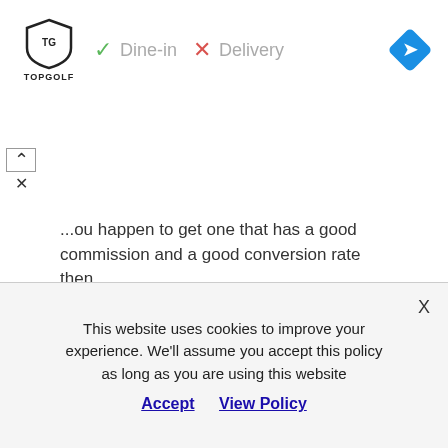[Figure (screenshot): Ad banner showing Topgolf logo, checkmark Dine-in, X Delivery, and blue navigation diamond icon]
...ou happen to get one that has a good commission and a good conversion rate then you're going to want to hold on to that and promote it as long as you can.
The Company Behind the Affiliate Program Is Important
This website uses cookies to improve your experience. We'll assume you accept this policy as long as you are using this website
Accept   View Policy